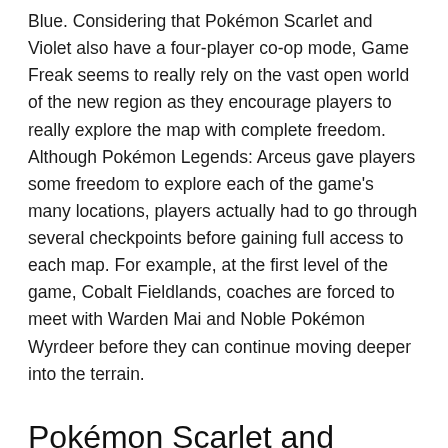Blue. Considering that Pokémon Scarlet and Violet also have a four-player co-op mode, Game Freak seems to really rely on the vast open world of the new region as they encourage players to really explore the map with complete freedom. Although Pokémon Legends: Arceus gave players some freedom to explore each of the game's many locations, players actually had to go through several checkpoints before gaining full access to each map. For example, at the first level of the game, Cobalt Fieldlands, coaches are forced to meet with Warden Mai and Noble Pokémon Wyrdeer before they can continue moving deeper into the terrain.
Pokémon Scarlet and Violet have a seamless open world, unlike Legends: Arceus